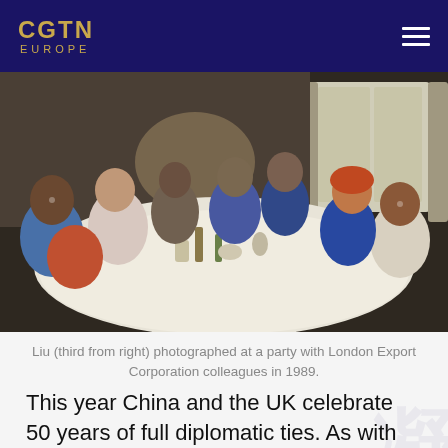CGTN EUROPE
[Figure (photo): Group of people seated around a dining table at a party, photographed in 1989. The scene shows approximately 8-9 people sharing a meal with bottles and dishware on the table.]
Liu (third from right) photographed at a party with London Export Corporation colleagues in 1989.
This year China and the UK celebrate 50 years of full diplomatic ties. As with any journey, there are